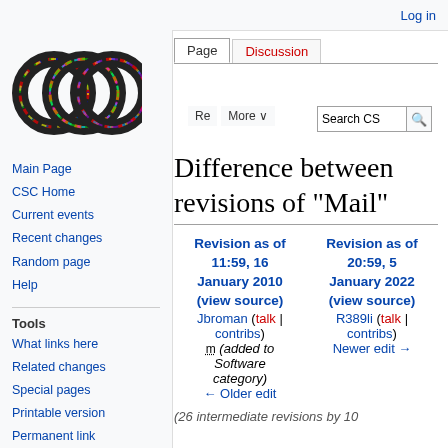Log in
[Figure (logo): Wikipedia-style interlocking rings logo with colorful threads]
Main Page
CSC Home
Current events
Recent changes
Random page
Help
Tools
What links here
Related changes
Special pages
Printable version
Permanent link
Page information
Difference between revisions of "Mail"
| Revision as of 11:59, 16 January 2010 (view source) | Revision as of 20:59, 5 January 2022 (view source) |
| --- | --- |
| Jbroman (talk | contribs) | R389li (talk | contribs) |
| m (added to Software category) | Newer edit → |
| ← Older edit |  |
(26 intermediate revisions by 10